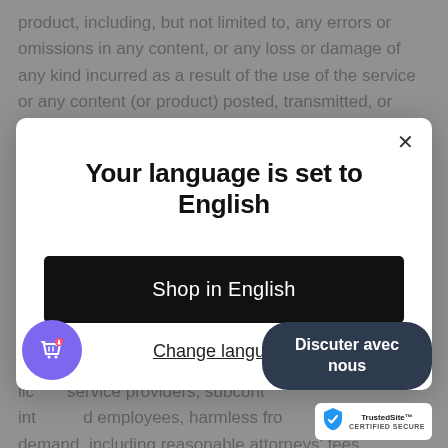product, including, but not limited to, any errors or omissions in any content, or any loss or damage of any kind incurred as a result of the use of the service or any content (or product) posted, transmitted, or otherwise
Your language is set to English
Shop in English
Change language
partners, officers, directors, agents, contractors, lic service providers, subcont int d employees, harmless fro demand, including reasonable attorneys' fees,
Discuter avec nous